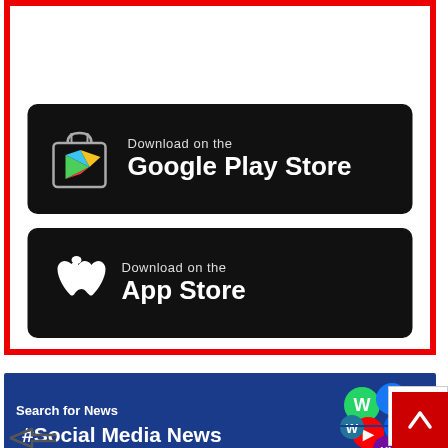[Figure (screenshot): Download on the Google Play Store button (black rounded rectangle with Google Play logo and text)]
[Figure (screenshot): Download on the App Store button (black rounded rectangle with Apple logo and text)]
[Figure (infographic): Dark blue banner with white text '#Trending #Social Media News' and a collage of social media icons (WhatsApp, Facebook, YouTube, Dropbox, Yahoo, etc.)]
Search for News
[Figure (logo): Share/forward arrow icon]
[Figure (logo): reCAPTCHA badge (Priv...)]
[Figure (other): Red scroll-to-top button with up arrow]